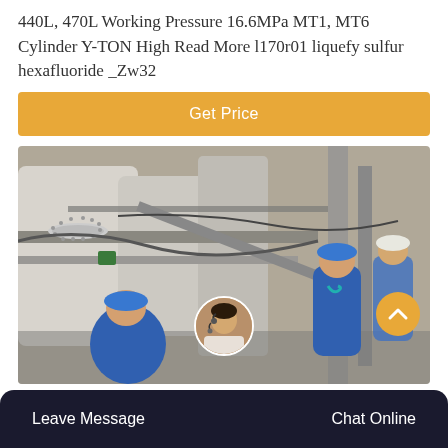440L, 470L Working Pressure 16.6MPa MT1, MT6 Cylinder Y-TON High Read More l170r01 liquefy sulfur hexafluoride _Zw32
[Figure (other): Orange 'Get Price' button bar]
[Figure (photo): Industrial facility scene with workers in blue coveralls and hard hats inspecting large cylindrical pressure vessels and piping]
[Figure (other): Dark footer bar with 'Leave Message' on left, chat avatar in center, 'Chat Online' on right]